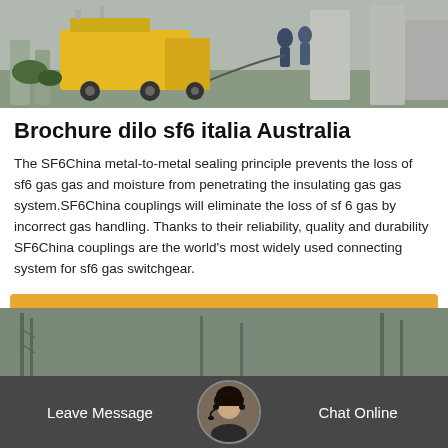[Figure (photo): Outdoor industrial scene with a yellow utility truck and workers near large electrical/gas infrastructure equipment, grey concrete structures visible.]
Brochure dilo sf6 italia Australia
The SF6China metal-to-metal sealing principle prevents the loss of sf6 gas gas and moisture from penetrating the insulating gas gas system.SF6China couplings will eliminate the loss of sf 6 gas by incorrect gas handling. Thanks to their reliability, quality and durability SF6China couplings are the world's most widely used connecting system for sf6 gas switchgear.
[Figure (other): Orange/amber rounded rectangle button labeled 'Get Price' in white text.]
[Figure (photo): Bottom section showing a dark semi-transparent bar with 'Leave Message' on the left, a circular avatar photo of a woman with headset in the center, and 'Chat Online' on the right. Background shows industrial/electrical tower infrastructure.]